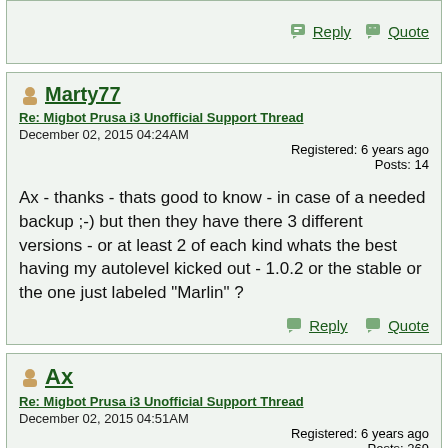Reply  Quote
Marty77
Re: Migbot Prusa i3 Unofficial Support Thread
December 02, 2015 04:24AM
Registered: 6 years ago
Posts: 14
Ax - thanks - thats good to know - in case of a needed backup ;-) but then they have there 3 different versions - or at least 2 of each kind whats the best having my autolevel kicked out - 1.0.2 or the stable or the one just labeled "Marlin" ?
Reply  Quote
Ax
Re: Migbot Prusa i3 Unofficial Support Thread
December 02, 2015 04:51AM
Registered: 6 years ago
Posts: 269
Quote
Marty77